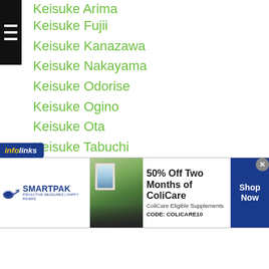Keisuke Arima
Keisuke Fujii
Keisuke Kanazawa
Keisuke Nakayama
Keisuke Odorise
Keisuke Ogino
Keisuke Ota
Keisuke Tabuchi
Keita Honke
Keita Ito
Kei Takenaka
Keita Obara
Ken Achiwa
Kener Lucas
Keng Fai Lam
Kengo Maruhashi
...nagashima
[Figure (screenshot): SmartPak advertisement banner: 50% Off Two Months of ColiCare, ColiCare Eligible Supplements, CODE: COLICARE10, Shop Now button]